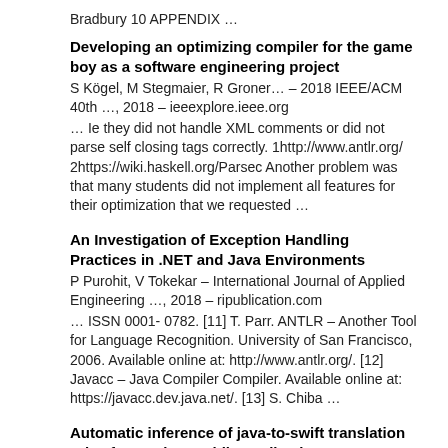Bradbury 10 APPENDIX …
Developing an optimizing compiler for the game boy as a software engineering project
S Kögel, M Stegmaier, R Groner… – 2018 IEEE/ACM 40th …, 2018 – ieeexplore.ieee.org
… Ie they did not handle XML comments or did not parse self closing tags correctly. 1http://www.antlr.org/ 2https://wiki.haskell.org/Parsec Another problem was that many students did not implement all features for their optimization that we requested …
An Investigation of Exception Handling Practices in .NET and Java Environments
P Purohit, V Tokekar – International Journal of Applied Engineering …, 2018 – ripublication.com
… ISSN 0001- 0782. [11] T. Parr. ANTLR – Another Tool for Language Recognition. University of San Francisco, 2006. Available online at: http://www.antlr.org/. [12] Javacc – Java Compiler Compiler. Available online at: https://javacc.dev.java.net/. [13] S. Chiba …
Automatic inference of java-to-swift translation rules for porting mobile applications